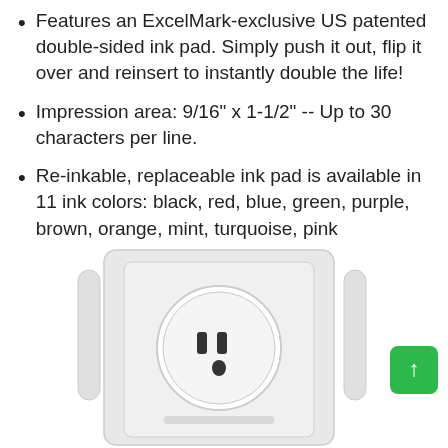Features an ExcelMark-exclusive US patented double-sided ink pad. Simply push it out, flip it over and reinsert to instantly double the life!
Impression area: 9/16" x 1-1/2" -- Up to 30 characters per line.
Re-inkable, replaceable ink pad is available in 11 ink colors: black, red, blue, green, purple, brown, orange, mint, turquoise, pink
[Figure (photo): Photo of an electrical outlet/power socket mounted on a white wall plate, with two white cylindrical objects (possibly stylus or plug accessories) on either side. A green back-to-top button with an upward arrow is visible in the lower right corner.]